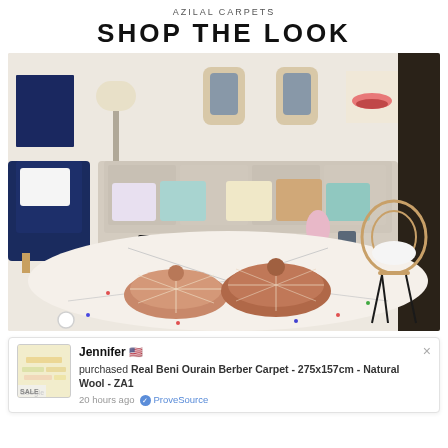AZILAL CARPETS
SHOP THE LOOK
[Figure (photo): Interior room photo showing a bohemian-styled living room with a white Beni Ourain Berber carpet, two tan leather Moroccan poufs, a navy blue velvet chair, a beige sofa with colorful pillows, a white coffee table, a rattan rocking chair, decorative mirrors and artwork on the walls, and a floor lamp.]
Jennifer 🇺🇸 purchased Real Beni Ourain Berber Carpet - 275x157cm - Natural Wool - ZA1
20 hours ago ✓ ProveSource